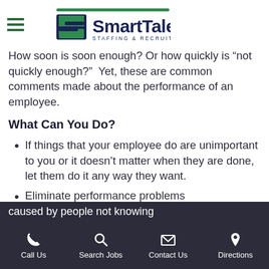[Figure (logo): SmartTalent Staffing & Recruiting logo with green S icon and dark blue text]
How soon is soon enough? Or how quickly is “not quickly enough?”  Yet, these are common comments made about the performance of an employee.
What Can You Do?
If things that your employee do are unimportant to you or it doesn’t matter when they are done, let them do it any way they want.
Eliminate performance problems caused by people not knowing...
Call Us  Search Jobs  Contact Us  Directions